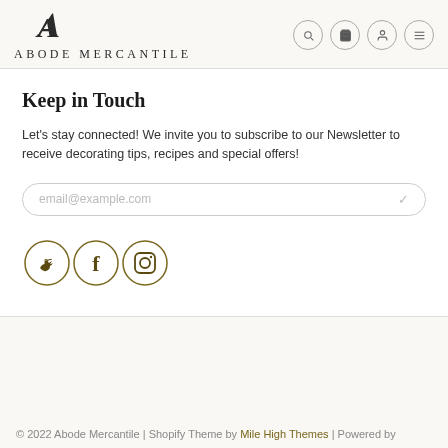ABODE MERCANTILE
Keep in Touch
Let's stay connected! We invite you to subscribe to our Newsletter to receive decorating tips, recipes and special offers!
email@example.com
[Figure (infographic): Three social media icons in circles (Twitter, Facebook, Instagram) with olive/gold border color]
© 2022 Abode Mercantile | Shopify Theme by Mile High Themes | Powered by